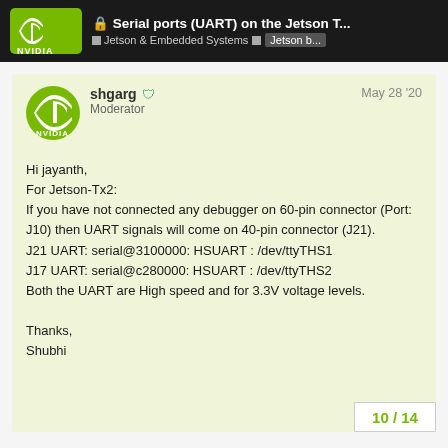Serial ports (UART) on the Jetson T... | Jetson & Embedded Systems | Jetson b...
shgarg  Moderator
May 28 '20

Hi jayanth,
For Jetson-Tx2:
If you have not connected any debugger on 60-pin connector (Port: J10) then UART signals will come on 40-pin connector (J21).
J21 UART: serial@3100000: HSUART : /dev/ttyTHS1
J17 UART: serial@c280000: HSUART : /dev/ttyTHS2
Both the UART are High speed and for 3.3V voltage levels.

Thanks,
Shubhi